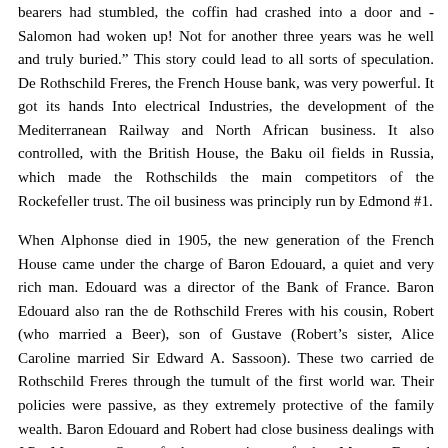bearers had stumbled, the coffin had crashed into a door and -Salomon had woken up! Not for another three years was he well and truly buried.” This story could lead to all sorts of speculation. De Rothschild Freres, the French House bank, was very powerful. It got its hands Into electrical Industries, the development of the Mediterranean Railway and North African business. It also controlled, with the British House, the Baku oil fields in Russia, which made the Rothschilds the main competitors of the Rockefeller trust. The oil business was principly run by Edmond #1.
When Alphonse died in 1905, the new generation of the French House came under the charge of Baron Edouard, a quiet and very rich man. Edouard was a director of the Bank of France. Baron Edouard also ran the de Rothschild Freres with his cousin, Robert (who married a Beer), son of Gustave (Robert’s sister, Alice Caroline married Sir Edward A. Sassoon). These two carried de Rothschild Freres through the tumult of the first world war. Their policies were passive, as they extremely protective of the family wealth. Baron Edouard and Robert had close business dealings with J.P. Morgan. One of the operations of the Morgan-French Rothschild combine involved economic manipulation that allowed the Vienna House to almost fully regain the losses that the Austrian Rothschilds had incurred during WWI.